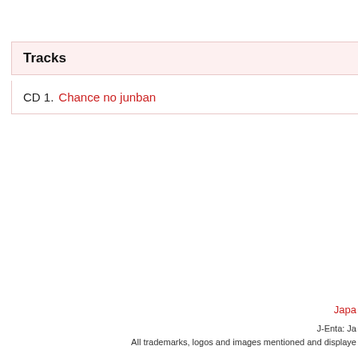Tracks
CD 1.  Chance no junban
Japa...
J-Enta: Ja...
All trademarks, logos and images mentioned and displaye...